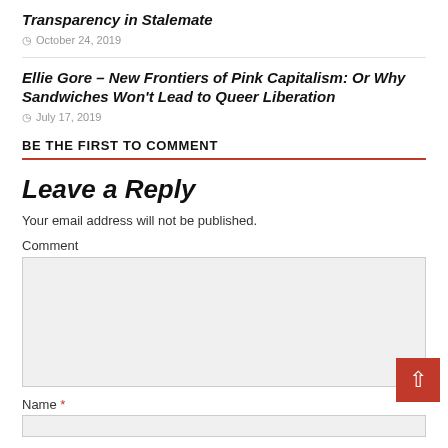Transparency in Stalemate
October 24, 2019
Ellie Gore – New Frontiers of Pink Capitalism: Or Why Sandwiches Won't Lead to Queer Liberation
July 17, 2019
BE THE FIRST TO COMMENT
Leave a Reply
Your email address will not be published.
Comment
Name *